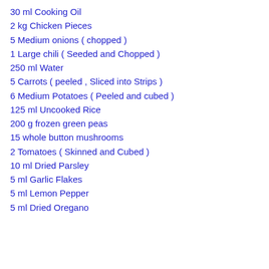30 ml Cooking Oil
2 kg Chicken Pieces
5 Medium onions ( chopped )
1 Large chili ( Seeded and Chopped )
250 ml Water
5 Carrots ( peeled , Sliced into Strips )
6 Medium Potatoes ( Peeled and cubed )
125 ml Uncooked Rice
200 g frozen green peas
15 whole button mushrooms
2 Tomatoes ( Skinned and Cubed )
10 ml Dried Parsley
5 ml Garlic Flakes
5 ml Lemon Pepper
5 ml Dried Oregano